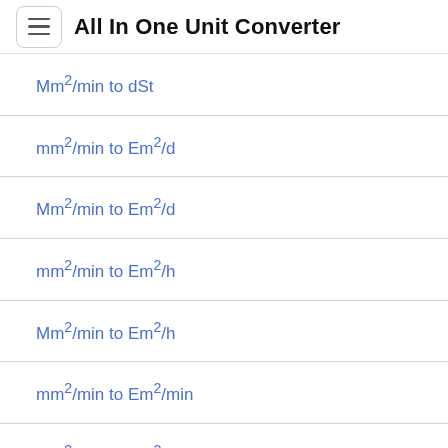All In One Unit Converter
Mm²/min to dSt
mm²/min to Em²/d
Mm²/min to Em²/d
mm²/min to Em²/h
Mm²/min to Em²/h
mm²/min to Em²/min
Mm²/min to Em²/min
mm²/min to Em²/s